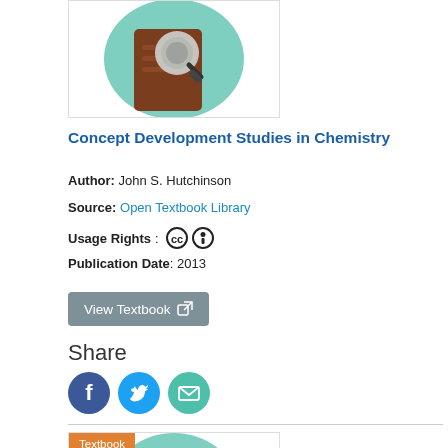[Figure (illustration): Book cover thumbnail with magnifying glass icon on teal background]
Concept Development Studies in Chemistry
Author: John S. Hutchinson
Source: Open Textbook Library
Usage Rights: CC BY
Publication Date: 2013
View Textbook
Share
[Figure (illustration): Social share icons: Facebook, Twitter, Email]
[Figure (illustration): Textbook badge and bottom book cover thumbnail]